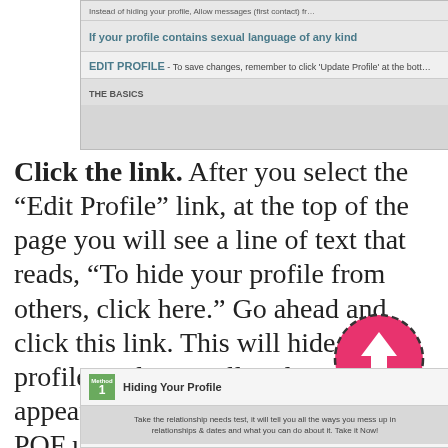[Figure (screenshot): Screenshot of a dating profile page showing text about hiding profile, Edit Profile section header, and The Basics section.]
Click the link. After you select the “Edit Profile” link, at the top of the page you will see a line of text that reads, “To hide your profile from others, click here.” Go ahead and click this link. This will hide your profile, and you will no longer appear in the search results of other POF users.
[Figure (screenshot): Screenshot showing Method 1 badge with Hiding Your Profile title and a promotional banner for a relationship needs test.]